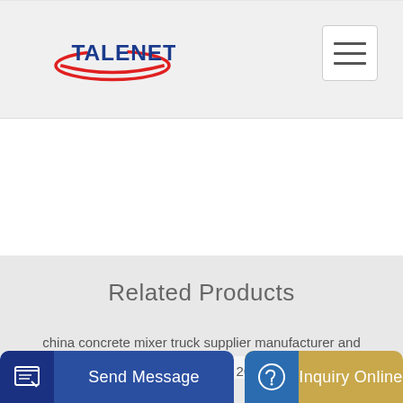TALENET (logo with navigation hamburger menu)
Related Products
china concrete mixer truck supplier manufacturer and
8 cbm concrete mixer truck G08K in 2021 Trucks Concrete
Send Message
Inquiry Online